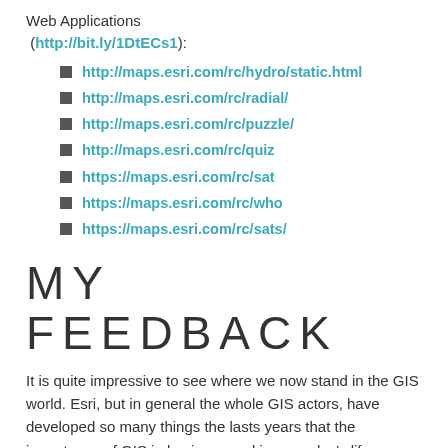Web Applications (http://bit.ly/1DtECs1):
http://maps.esri.com/rc/hydro/static.html
http://maps.esri.com/rc/radial/
http://maps.esri.com/rc/puzzle/
http://maps.esri.com/rc/quiz
https://maps.esri.com/rc/sat
https://maps.esri.com/rc/who
https://maps.esri.com/rc/sats/
MY FEEDBACK
It is quite impressive to see where we now stand in the GIS world. Esri, but in general the whole GIS actors, have developed so many things the lasts years that the importance of GIS in business and in everyday's life becomes a